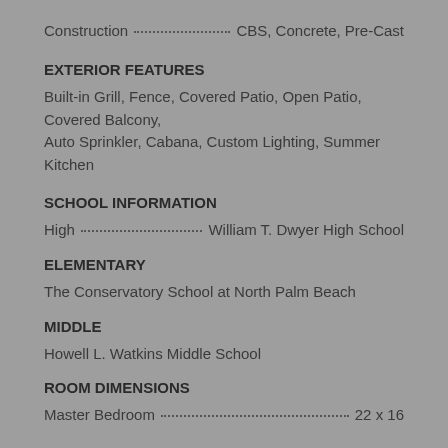Construction · CBS, Concrete, Pre-Cast
EXTERIOR FEATURES
Built-in Grill, Fence, Covered Patio, Open Patio, Covered Balcony, Auto Sprinkler, Cabana, Custom Lighting, Summer Kitchen
SCHOOL INFORMATION
High · William T. Dwyer High School
ELEMENTARY
The Conservatory School at North Palm Beach
MIDDLE
Howell L. Watkins Middle School
ROOM DIMENSIONS
Master Bedroom · 22 x 16